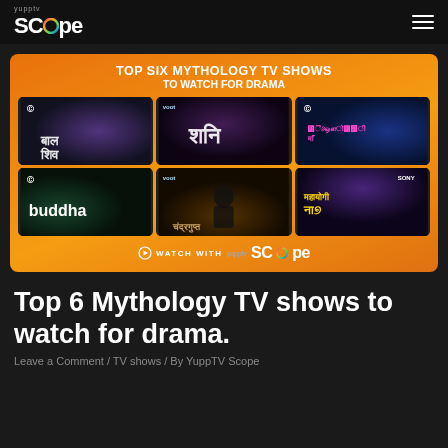YuppTV Scope
[Figure (infographic): Orange banner titled TOP SIX MYTHOLOGY TV SHOWS TO WATCH FOR DRAMA, with a 2x3 grid of TV show thumbnails (Bal Shiv, Shani, Santoshi Maa, Buddha, Chandragupta(?), Mahayogi Nath), and a Watch With Scope logo at the bottom]
Top 6 Mythology TV shows to watch for drama.
Leave a Comment / TV shows / By YuppTV Scope